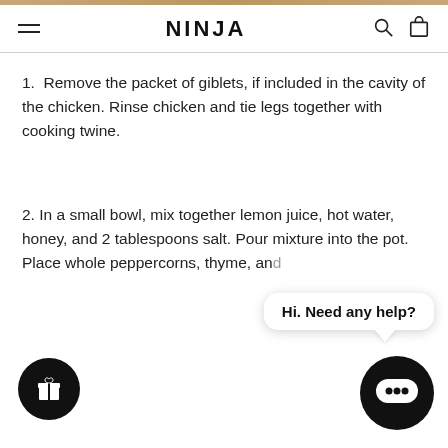NINJA
1.  Remove the packet of giblets, if included in the cavity of the chicken. Rinse chicken and tie legs together with cooking twine.
2. In a small bowl, mix together lemon juice, hot water, honey, and 2 tablespoons salt. Pour mixture into the pot. Place whole peppercorns, thyme, and
Hi. Need any help?